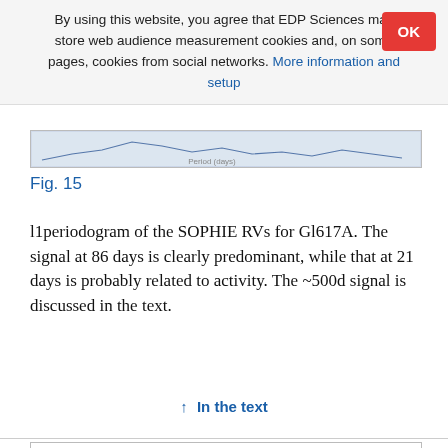By using this website, you agree that EDP Sciences may store web audience measurement cookies and, on some pages, cookies from social networks. More information and setup
[Figure (other): Partial view of a periodogram figure (Fig. 15 top portion cut off)]
Fig. 15
l1periodogram of the SOPHIE RVs for Gl617A. The signal at 86 days is clearly predominant, while that at 21 days is probably related to activity. The ~500d signal is discussed in the text.
↑ In the text
[Figure (scatter-plot): Bottom portion of a scatter plot figure showing data points in purple/blue, partially visible]